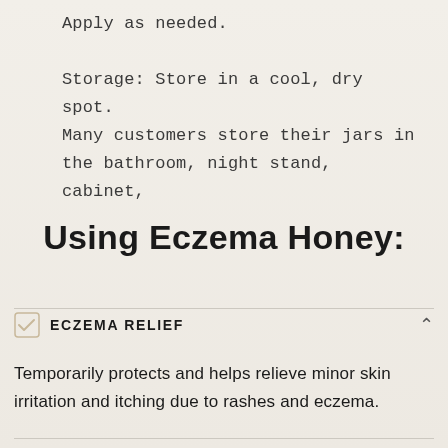Apply as needed.

Storage: Store in a cool, dry spot. Many customers store their jars in the bathroom, night stand, cabinet,
Using Eczema Honey:
ECZEMA RELIEF
Temporarily protects and helps relieve minor skin irritation and itching due to rashes and eczema.